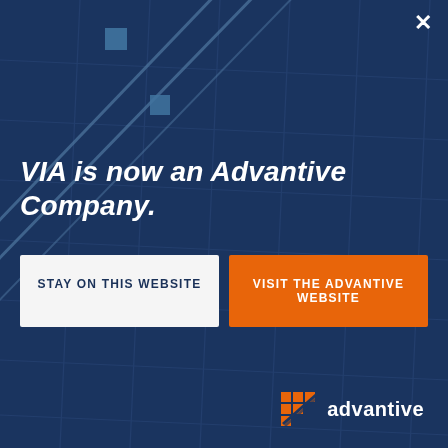[Figure (illustration): Dark navy blue background with architectural glass building grid pattern and light blue diagonal lines with square markers in upper left, representing a branded modal overlay for Advantive company announcement]
VIA is now an Advantive Company.
STAY ON THIS WEBSITE
VISIT THE ADVANTIVE WEBSITE
[Figure (logo): Advantive logo: orange grid/matrix icon followed by the word 'advantive' in white text]